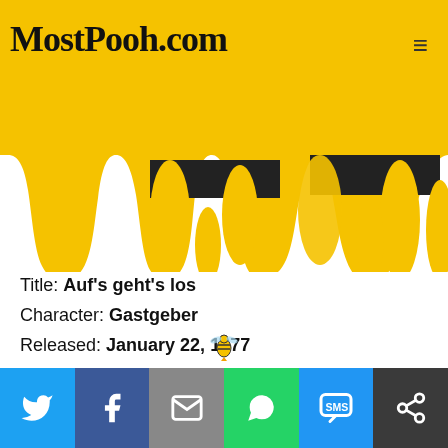MostPooh.com
[Figure (illustration): Dripping yellow honey graphic as decorative header banner with black gaps]
Title: Auf's geht's los
Character: Gastgeber
Released: January 22, 1977
Type: TV
Click for Details
[Figure (illustration): Small bee icon above the share bar]
Share buttons: Twitter, Facebook, Email, WhatsApp, SMS, Copy